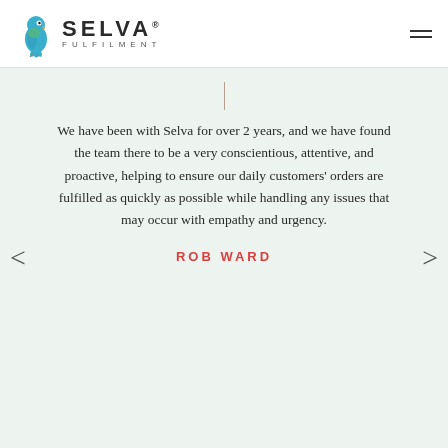[Figure (logo): Selva Fulfilment logo with parrot bird icon and text 'SELVA FULFILMENT']
We have been with Selva for over 2 years, and we have found the team there to be a very conscientious, attentive, and proactive, helping to ensure our daily customers' orders are fulfilled as quickly as possible while handling any issues that may occur with empathy and urgency.
ROB WARD